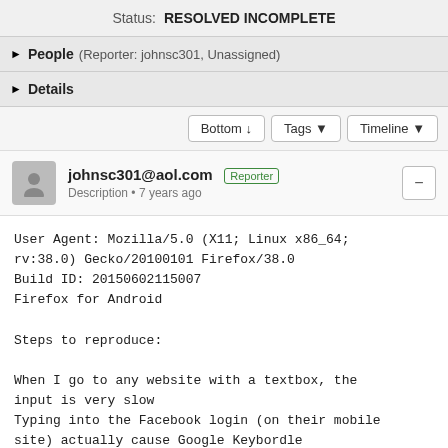Status: RESOLVED INCOMPLETE
▶ People (Reporter: johnsc301, Unassigned)
▶ Details
Bottom ↓   Tags ▼   Timeline ▼
johnsc301@aol.com Reporter
Description • 7 years ago
User Agent: Mozilla/5.0 (X11; Linux x86_64; rv:38.0) Gecko/20100101 Firefox/38.0
Build ID: 20150602115007
Firefox for Android

Steps to reproduce:

When I go to any website with a textbox, the input is very slow
Typing into the Facebook login (on their mobile site) actually cause Google Keybordle...